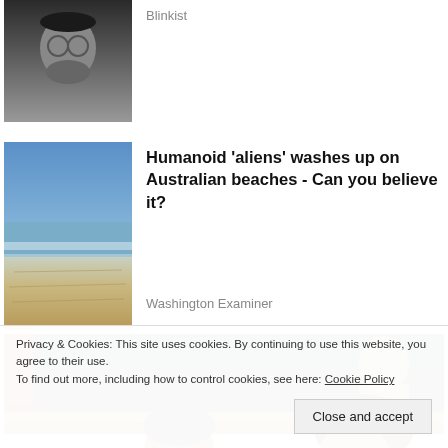[Figure (photo): Black and white portrait photo of a young man with glasses and beard]
Blinkist
[Figure (photo): Photo of a sandy beach with ocean waves and blue sky]
Humanoid 'aliens' washes up on Australian beaches - Can you believe it?
Washington Examiner
[Figure (photo): Photo of two people wearing sunglasses seated at what appears to be a Wimbledon tennis event, with green seats visible in the background]
Privacy & Cookies: This site uses cookies. By continuing to use this website, you agree to their use.
To find out more, including how to control cookies, see here: Cookie Policy
[Figure (photo): Partial view of people at a public event at bottom of page]